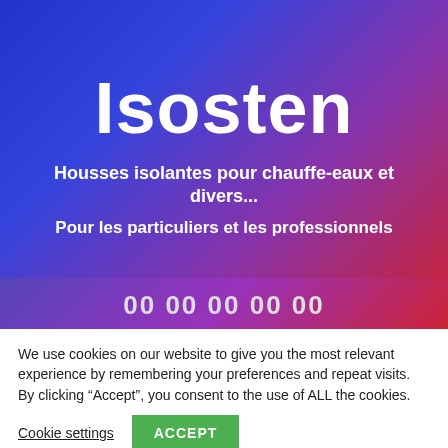[Figure (screenshot): Hero banner with blue-to-red gradient background showing Isosten brand name and taglines]
Isosten
Housses isolantes pour chauffe-eaux et divers...
Pour les particuliers et les professionnels
We use cookies on our website to give you the most relevant experience by remembering your preferences and repeat visits. By clicking “Accept”, you consent to the use of ALL the cookies.
Cookie settings
ACCEPT